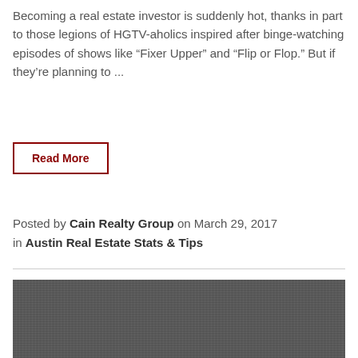Becoming a real estate investor is suddenly hot, thanks in part to those legions of HGTV-aholics inspired after binge-watching episodes of shows like “Fixer Upper” and “Flip or Flop.” But if they’re planning to ...
Read More
Posted by Cain Realty Group on March 29, 2017 in Austin Real Estate Stats & Tips
[Figure (photo): Dark gray textured image placeholder, appears to be a photo with noise/grain pattern]